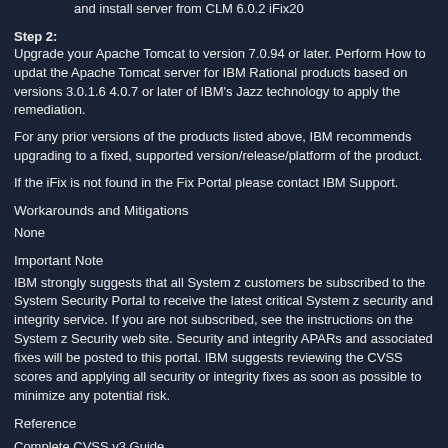Rational DOORS Next Generation: Upgrade to version 6.0.6.2 and install server from CLM 6.0.2 iFix20
Step 2:
Upgrade your Apache Tomcat to version 7.0.94 or later. Perform How to update the Apache Tomcat server for IBM Rational products based on versions 3.0.1.6 4.0.7 or later of IBM's Jazz technology to apply the remediation.
For any prior versions of the products listed above, IBM recommends upgrading to a fixed, supported version/release/platform of the product.
If the iFix is not found in the Fix Portal please contact IBM Support.
Workarounds and Mitigations
None
Important Note
IBM strongly suggests that all System z customers be subscribed to the System z Security Portal to receive the latest critical System z security and integrity service. If you are not subscribed, see the instructions on the System z Security web site. Security and integrity APARs and associated fixes will be posted to this portal. IBM suggests reviewing the CVSS scores and applying all security or integrity fixes as soon as possible to minimize any potential risk.
Reference
Complete CVSS v3 Guide
On-line Calculator v3